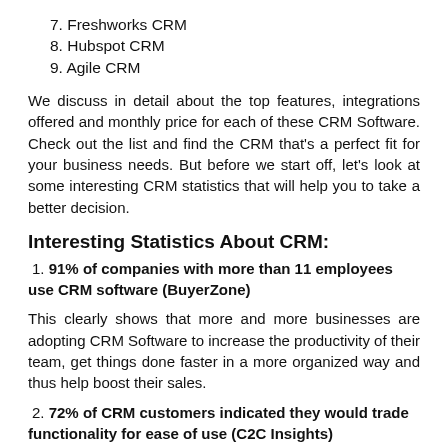7. Freshworks CRM
8. Hubspot CRM
9. Agile CRM
We discuss in detail about the top features, integrations offered and monthly price for each of these CRM Software. Check out the list and find the CRM that’s a perfect fit for your business needs. But before we start off, let’s look at some interesting CRM statistics that will help you to take a better decision.
Interesting Statistics About CRM:
1. 91% of companies with more than 11 employees use CRM software (BuyerZone)
This clearly shows that more and more businesses are adopting CRM Software to increase the productivity of their team, get things done faster in a more organized way and thus help boost their sales.
2. 72% of CRM customers indicated they would trade functionality for ease of use (C2C Insights)